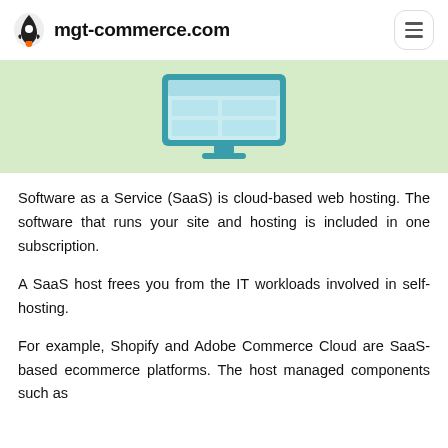mgt-commerce.com
[Figure (illustration): Light green banner with a flat-style illustration of a desktop monitor showing a grid/table layout on screen, in teal/cyan colors]
Software as a Service (SaaS) is cloud-based web hosting. The software that runs your site and hosting is included in one subscription.
A SaaS host frees you from the IT workloads involved in self-hosting.
For example, Shopify and Adobe Commerce Cloud are SaaS-based ecommerce platforms. The host managed components such as